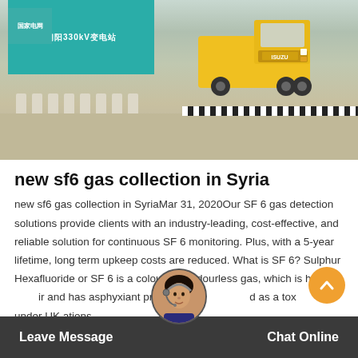[Figure (photo): A yellow truck entering through a gate of a facility with a teal sign. Concrete bollards line the driveway. A curb with black-and-white stripes is visible on the right side.]
new sf6 gas collection in Syria
new sf6 gas collection in SyriaMar 31, 2020Our SF 6 gas detection solutions provide clients with an industry-leading, cost-effective, and reliable solution for continuous SF 6 monitoring. Plus, with a 5-year lifetime, long term upkeep costs are reduced. What is SF 6? Sulphur Hexafluoride or SF 6 is a colourless, odourless gas, which is heavier than air and has asphyxiant properties. It is classified as a toxic gas under UK regulations and SF 6 with...